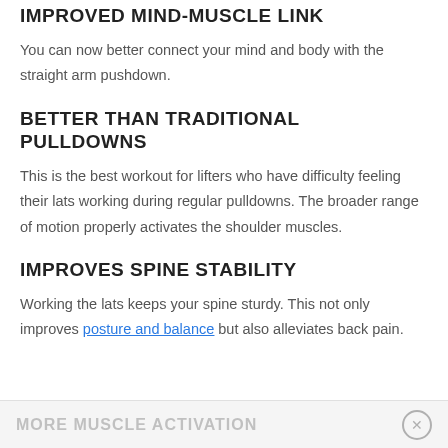IMPROVED MIND-MUSCLE LINK
You can now better connect your mind and body with the straight arm pushdown.
BETTER THAN TRADITIONAL PULLDOWNS
This is the best workout for lifters who have difficulty feeling their lats working during regular pulldowns. The broader range of motion properly activates the shoulder muscles.
IMPROVES SPINE STABILITY
Working the lats keeps your spine sturdy. This not only improves posture and balance but also alleviates back pain.
MORE MUSCLE ACTIVATION